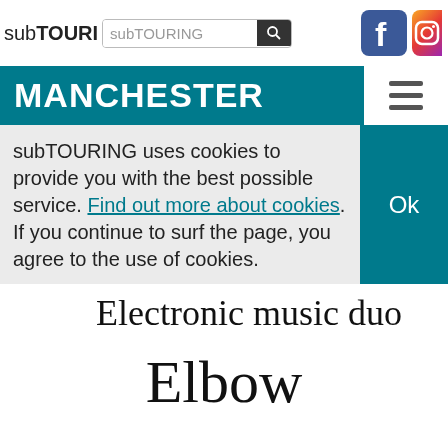subTOURING [search box] [Facebook icon] [Instagram icon]
MANCHESTER
subTOURING uses cookies to provide you with the best possible service. Find out more about cookies. If you continue to surf the page, you agree to the use of cookies.
Electronic music duo
Elbow